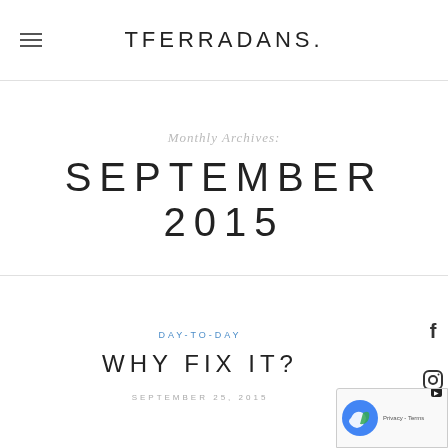TFERRADANS.
Monthly Archives:
SEPTEMBER 2015
DAY-TO-DAY
WHY FIX IT?
SEPTEMBER 25, 2015